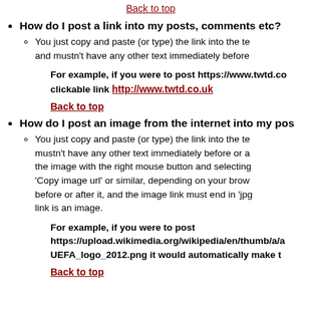Back to top
How do I post a link into my posts, comments etc?
You just copy and paste (or type) the link into the te… and mustn't have any other text immediately before…
For example, if you were to post https://www.twtd.co… clickable link http://www.twtd.co.uk
Back to top
How do I post an image from the internet into my pos…
You just copy and paste (or type) the link into the te… mustn't have any other text immediately before or a… the image with the right mouse button and selecting… 'Copy image url' or similar, depending on your brow… before or after it, and the image link must end in 'jpg… link is an image.
For example, if you were to post https://upload.wikimedia.org/wikipedia/en/thumb/a/a… UEFA_logo_2012.png it would automatically make t…
Back to top